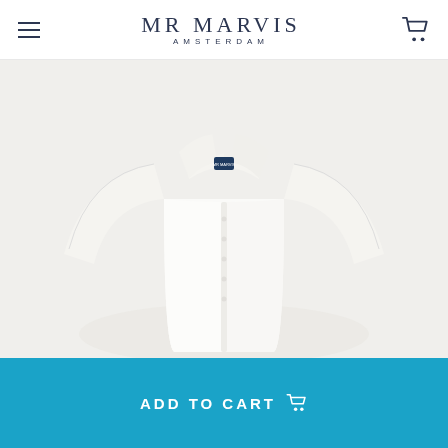MR MARVIS AMSTERDAM
[Figure (photo): White dress shirt displayed on an invisible mannequin against a light grey/cream background. The shirt has a spread collar, front button placket, and long sleeves. A small dark navy label is visible at the back of the collar.]
ADD TO CART